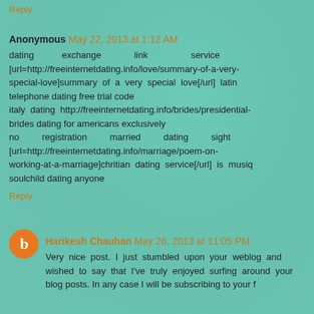Reply
Anonymous May 22, 2013 at 1:12 AM
dating exchange link service [url=http://freeinternetdating.info/love/summary-of-a-very-special-love]summary of a very special love[/url] latin telephone dating free trial code
italy dating http://freeinternetdating.info/brides/presidential-brides dating for americans exclusively
no registration married dating sight [url=http://freeinternetdating.info/marriage/poem-on-working-at-a-marriage]chritian dating service[/url] is musiq soulchild dating anyone
Reply
Harikesh Chauhan May 26, 2013 at 11:05 PM
Very nice post. I just stumbled upon your weblog and wished to say that I've truly enjoyed surfing around your blog posts. In any case I will be subscribing to your f